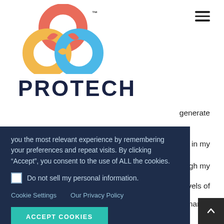[Figure (logo): Protech logo: three interlocking circles in red/coral, yellow/gold, and blue, forming an infinity-like knot shape, with TM superscript. Below the symbol, the word PROTECH in bold dark navy uppercase letters.]
you the most relevant experience by remembering your preferences and repeat visits. By clicking “Accept”, you consent to the use of ALL the cookies.
Do not sell my personal information.
Cookie Settings   Our Privacy Policy
ACCEPT COOKIES
generate
held in my
rough my
vels of
's demand?
How will I integrate the activities performed by